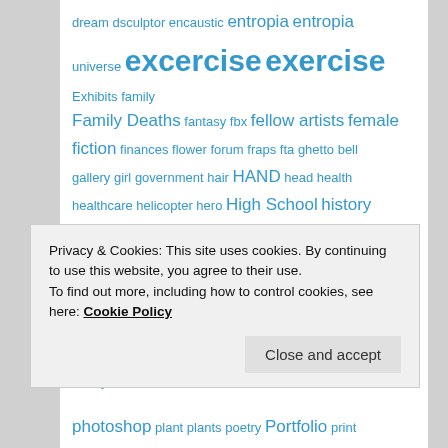dream dsculptor encaustic entropia entropia universe excercise exercise Exhibits family Family Deaths fantasy fbx fellow artists female fiction finances flower forum fraps fta ghetto bell gallery girl government hair HAND head health healthcare helicopter hero High School history holiday Holliday home business horse human Humor ideas illustration Image hosts imodeler injury ink inspirations interesting reading Introduction jeff jeffthomann jeff thomann jpg keyword keywords landscape law lawyers lightwave linux literature Lulu lw lwo lws mall small man Mandala MANIFESTO Maria's Blog Marker mastermesh photoshop plant plants poetry Portfolio print
Privacy & Cookies: This site uses cookies. By continuing to use this website, you agree to their use. To find out more, including how to control cookies, see here: Cookie Policy